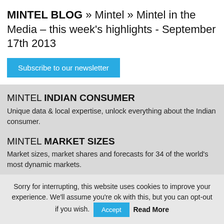MINTEL BLOG » Mintel » Mintel in the Media – this week's highlights - September 17th 2013
[Figure (other): Subscribe to our newsletter button (cyan/blue rectangular button)]
MINTEL INDIAN CONSUMER
Unique data & local expertise, unlock everything about the Indian consumer.
MINTEL MARKET SIZES
Market sizes, market shares and forecasts for 34 of the world's most dynamic markets.
Sorry for interrupting, this website uses cookies to improve your experience. We'll assume you're ok with this, but you can opt-out if you wish. Accept Read More